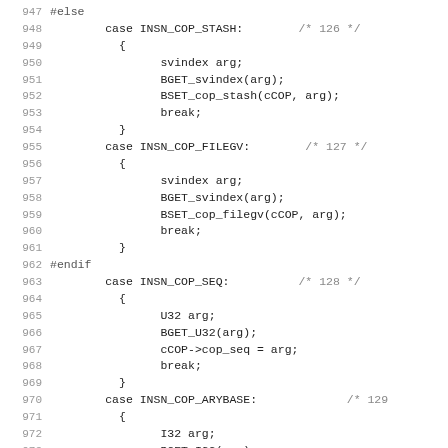[Figure (screenshot): Source code listing showing lines 947-978 of a C/C++ file with switch-case statements for INSN_COP_STASH, INSN_COP_FILEGV, INSN_COP_SEQ, INSN_COP_ARYBASE, and INSN_COP_LINE operations, with preprocessor #else and #endif directives.]